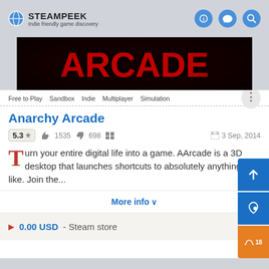STEAMPEEK Indie friendly game discovery
[Figure (screenshot): Game banner image showing 'ARCADE' text in large red letters on a dark background]
Free to Play  Sandbox  Indie  Multiplayer  Simulation
Anarchy Arcade
5.3 ★  👍 1535 👎 698  🪟  3 Sep, 2014
Turn your entire digital life into a game. AArcade is a 3D desktop that launches shortcuts to absolutely anything you like. Join the...
More info ∨
▶ 0.00 USD - Steam store